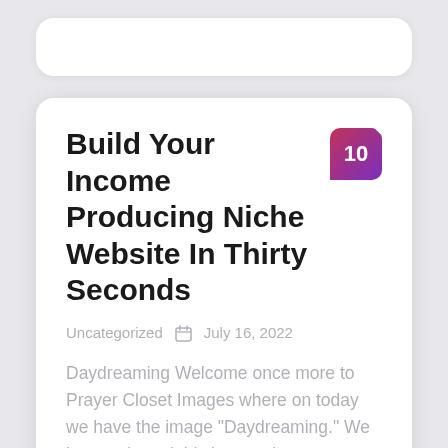Build Your Income Producing Niche Website In Thirty Seconds
Uncategorized  📅 July 16, 2022
Daydreaming Welcome once more to Prayer Closet Images where on today we have the image "Daydreaming." We have selected this images because a picture is worth...
[Figure (infographic): Social share buttons: Facebook (blue), Twitter (blue), Email/mail (blue), Plus/more (blue)]